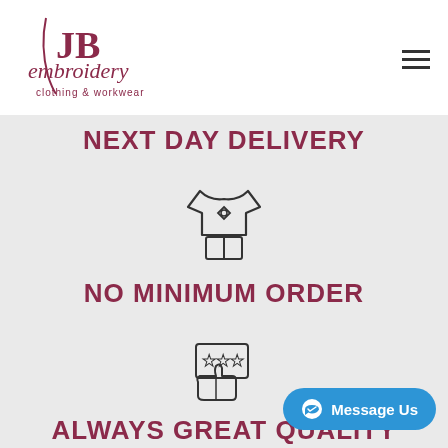[Figure (logo): JB Embroidery logo — cursive text reading 'JB embroidery clothing & workwear' in dark rose/mauve color]
NEXT DAY DELIVERY
[Figure (illustration): Icon of a t-shirt with shorts / sports kit]
NO MINIMUM ORDER
[Figure (illustration): Icon of a thumbs-up with a review/rating card showing three stars]
ALWAYS GREAT QUALITY
[Figure (illustration): Facebook Messenger icon with 'Message Us' button in blue]